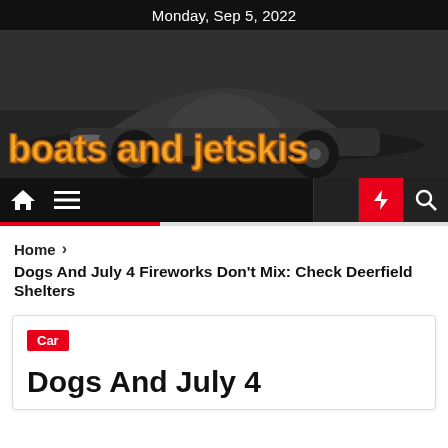Monday, Sep 5, 2022
[Figure (photo): Hero banner with a dark sports car photo and 'boats and jetskis' title overlay in orange bold text]
boats and jetskis
[Figure (screenshot): Navigation bar with home icon, hamburger menu, moon icon, lightning bolt (red), and search icon]
Home > Dogs And July 4 Fireworks Don't Mix: Check Deerfield Shelters
Car
Dogs And July 4